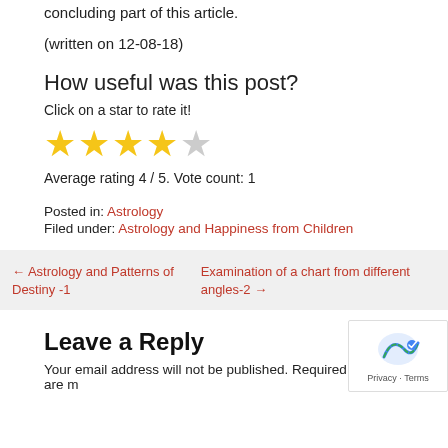concluding part of this article.
(written on 12-08-18)
How useful was this post?
Click on a star to rate it!
[Figure (other): Star rating widget showing 4 out of 5 filled stars (yellow) and 1 empty star (gray)]
Average rating 4 / 5. Vote count: 1
Posted in: Astrology
Filed under: Astrology and Happiness from Children
← Astrology and Patterns of Destiny -1
Examination of a chart from different angles-2 →
Leave a Reply
Your email address will not be published. Required fields are m